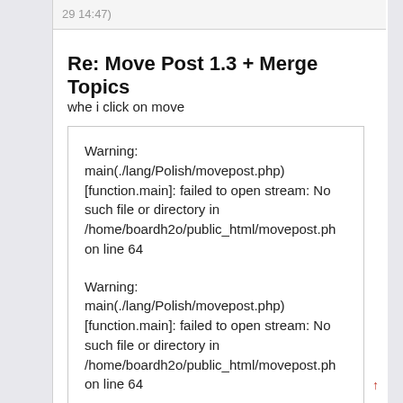29 14:47)
Re: Move Post 1.3 + Merge Topics
whe i click on move
Warning: main(./lang/Polish/movepost.php) [function.main]: failed to open stream: No such file or directory in /home/boardh2o/public_html/movepost.ph on line 64

Warning: main(./lang/Polish/movepost.php) [function.main]: failed to open stream: No such file or directory in /home/boardh2o/public_html/movepost.ph on line 64

Fatal error: main() [function.require]: Failed opening required